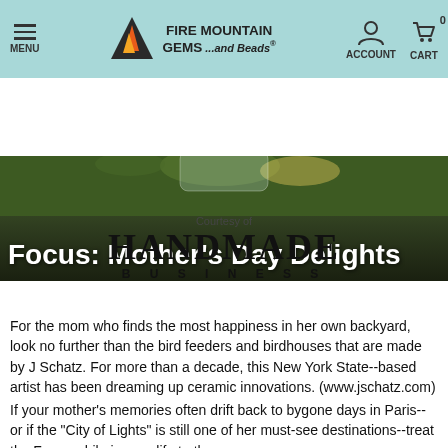MENU | FIRE MOUNTAIN GEMS ...and Beads® | ACCOUNT | CART 0
[Figure (screenshot): Hero banner with dark green garden background and white bold text reading 'Focus: Mother's Day Delights']
Focus: Mother's Day Delights
[Figure (logo): Courtesy of HANDMADE BUSINESS logo]
For the mom who finds the most happiness in her own backyard, look no further than the bird feeders and birdhouses that are made by J Schatz. For more than a decade, this New York State--based artist has been dreaming up ceramic innovations. (www.jschatz.com)
If your mother's memories often drift back to bygone days in Paris--or if the "City of Lights" is still one of her must-see destinations--treat the Francophile in your life to the...